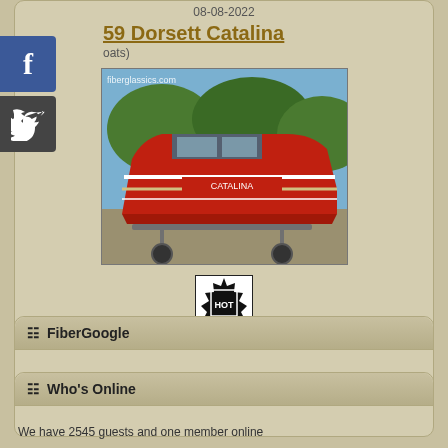08-08-2022
59 Dorsett Catalina
oats)
[Figure (photo): Red vintage Dorsett Catalina boat on a trailer, photographed from the front-side angle. Watermark reads 'fiberglassics.com']
[Figure (other): HOT badge - black starburst seal with 'HOT' text inside a square border]
08-02-2022
FiberGoogle
Who's Online
We have 2545 guests and one member online